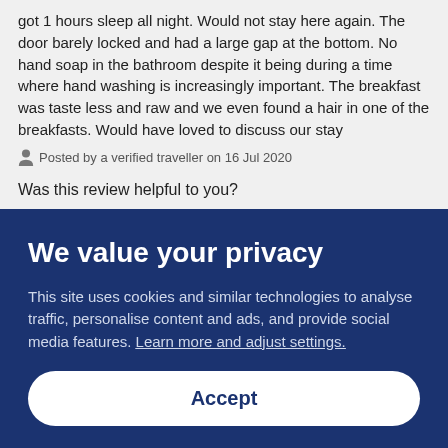got 1 hours sleep all night. Would not stay here again. The door barely locked and had a large gap at the bottom. No hand soap in the bathroom despite it being during a time where hand washing is increasingly important. The breakfast was taste less and raw and we even found a hair in one of the breakfasts. Would have loved to discuss our stay
Posted by a verified traveller on 16 Jul 2020
Was this review helpful to you?
Yes: 4
5
The service was good, the food was excellent, rooms very clean.
We value your privacy
This site uses cookies and similar technologies to analyse traffic, personalise content and ads, and provide social media features. Learn more and adjust settings.
Accept